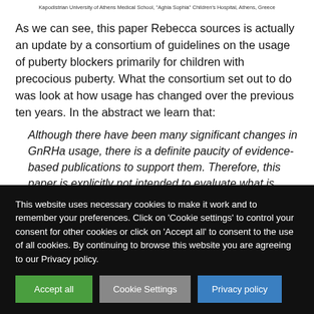Kapodistrian University of Athens Medical School, "Aghia Sophia" Children's Hospital, Athens, Greece
As we can see, this paper Rebecca sources is actually an update by a consortium of guidelines on the usage of puberty blockers primarily for children with precocious puberty. What the consortium set out to do was look at how usage has changed over the previous ten years. In the abstract we learn that:
Although there have been many significant changes in GnRHa usage, there is a definite paucity of evidence-based publications to support them. Therefore, this paper is explicitly not intended to evaluate what is
This website uses necessary cookies to make it work and to remember your preferences. Click on 'Cookie settings' to control your consent for other cookies or click on 'Accept all' to consent to the use of all cookies. By continuing to browse this website you are agreeing to our Privacy policy.